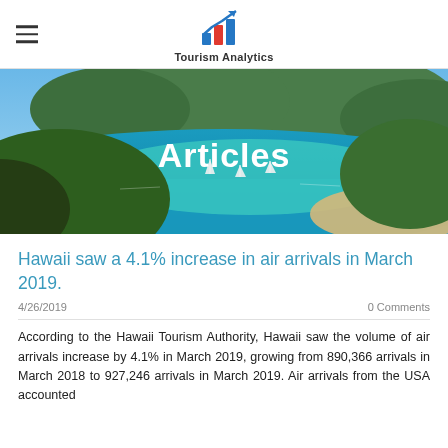Tourism Analytics
[Figure (photo): Aerial photo of a tropical island with blue water, sailboats, and green hillside. Text 'Articles' overlaid in white bold.]
Hawaii saw a 4.1% increase in air arrivals in March 2019.
4/26/2019    0 Comments
According to the Hawaii Tourism Authority, Hawaii saw the volume of air arrivals increase by 4.1% in March 2019, growing from 890,366 arrivals in March 2018 to 927,246 arrivals in March 2019. Air arrivals from the USA accounted...